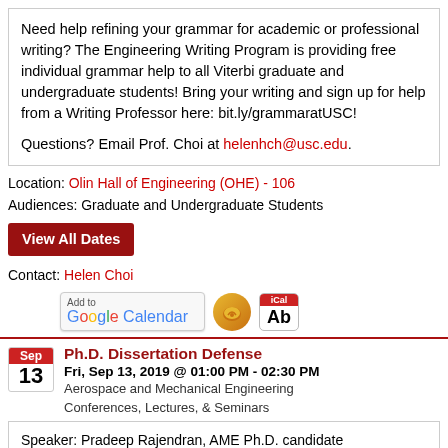Need help refining your grammar for academic or professional writing? The Engineering Writing Program is providing free individual grammar help to all Viterbi graduate and undergraduate students! Bring your writing and sign up for help from a Writing Professor here: bit.ly/grammaratUSC!

Questions? Email Prof. Choi at helenhch@usc.edu.
Location: Olin Hall of Engineering (OHE) - 106
Audiences: Graduate and Undergraduate Students
View All Dates
Contact: Helen Choi
[Figure (other): Add to Google Calendar button, envelope icon, and iCal icon]
Ph.D. Dissertation Defense
Fri, Sep 13, 2019 @ 01:00 PM - 02:30 PM
Aerospace and Mechanical Engineering
Conferences, Lectures, & Seminars
Speaker: Pradeep Rajendran, AME Ph.D. candidate